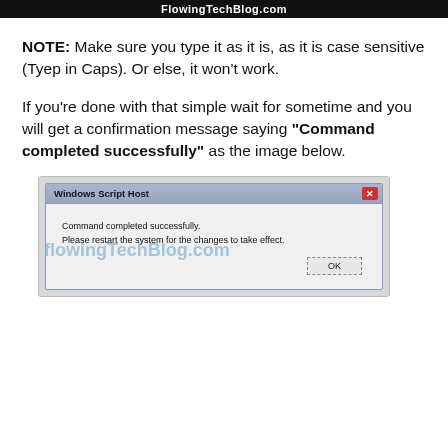FlowingTechBlog.com
NOTE: Make sure you type it as it is, as it is case sensitive (Tyep in Caps). Or else, it won't work.
If you're done with that simple wait for sometime and you will get a confirmation message saying "Command completed successfully" as the image below.
[Figure (screenshot): Windows Script Host dialog box showing 'Command completed successfully. Please restart the system for the changes to take effect.' with an OK button. FlowingTechBlog.com watermark visible.]